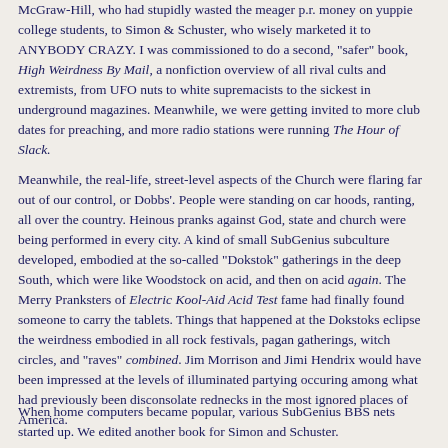McGraw-Hill, who had stupidly wasted the meager p.r. money on yuppie college students, to Simon & Schuster, who wisely marketed it to ANYBODY CRAZY. I was commissioned to do a second, "safer" book, High Weirdness By Mail, a nonfiction overview of all rival cults and extremists, from UFO nuts to white supremacists to the sickest in underground magazines. Meanwhile, we were getting invited to more club dates for preaching, and more radio stations were running The Hour of Slack.
Meanwhile, the real-life, street-level aspects of the Church were flaring far out of our control, or Dobbs'. People were standing on car hoods, ranting, all over the country. Heinous pranks against God, state and church were being performed in every city. A kind of small SubGenius subculture developed, embodied at the so-called "Dokstok" gatherings in the deep South, which were like Woodstock on acid, and then on acid again. The Merry Pranksters of Electric Kool-Aid Acid Test fame had finally found someone to carry the tablets. Things that happened at the Dokstoks eclipse the weirdness embodied in all rock festivals, pagan gatherings, witch circles, and "raves" combined. Jim Morrison and Jimi Hendrix would have been impressed at the levels of illuminated partying occuring among what had previously been disconsolate rednecks in the most ignored places of America.
When home computers became popular, various SubGenius BBS nets started up. We edited another book for Simon and Schuster.